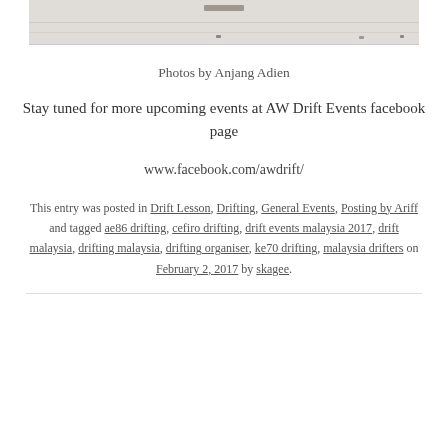[Figure (photo): Partial view of a photo strip showing a washed-out/light-colored image, likely an outdoor scene]
Photos by Anjang Adien
Stay tuned for more upcoming events at AW Drift Events facebook page
www.facebook.com/awdrift/
This entry was posted in Drift Lesson, Drifting, General Events, Posting by Ariff and tagged ae86 drifting, cefiro drifting, drift events malaysia 2017, drift malaysia, drifting malaysia, drifting organiser, ke70 drifting, malaysia drifters on February 2, 2017 by skagee.